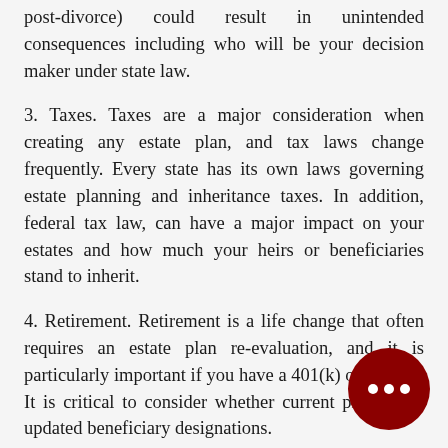post-divorce) could result in unintended consequences including who will be your decision maker under state law.
3. Taxes. Taxes are a major consideration when creating any estate plan, and tax laws change frequently. Every state has its own laws governing estate planning and inheritance taxes. In addition, federal tax law, can have a major impact on your estates and how much your heirs or beneficiaries stand to inherit.
4. Retirement. Retirement is a life change that often requires an estate plan re-evaluation, and it is particularly important if you have a 401(k) or an IRA. It is critical to consider whether current plans need updated beneficiary designations.
5. Birth of a child or grandchild. Adding children or grandchildren to an estate plan is a great way to both protect them and provide for their future.
6. Death. A death in the family may also require a evaluation if the deceased person was named in your estate plan. If a deceased spouse was your main